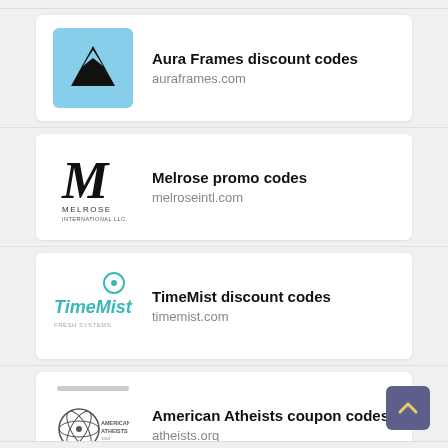[Figure (logo): Aura Frames logo — light blue background with black A and triangle]
Aura Frames discount codes
auraframes.com
[Figure (logo): Melrose International LLC logo — cursive M with MELROSE INTERNATIONAL LLC text]
Melrose promo codes
melroseintl.com
[Figure (logo): TimeMist logo — teal text with circular icon]
TimeMist discount codes
timemist.com
[Figure (logo): American Atheists logo — circular emblem with text]
American Atheists coupon codes
atheists.org